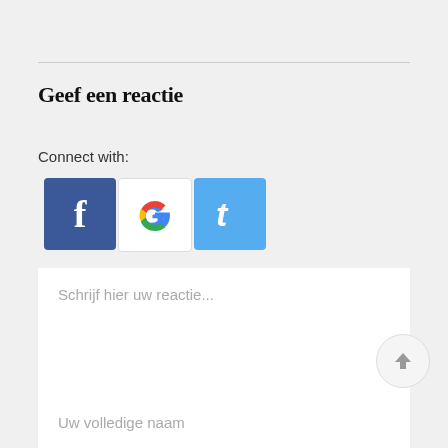Geef een reactie
Connect with:
[Figure (illustration): Three social login buttons: Facebook (blue with white F), Google (white with colorful G logo), Twitter (blue with white t)]
Schrijf hier uw reactie...
Uw volledige naam